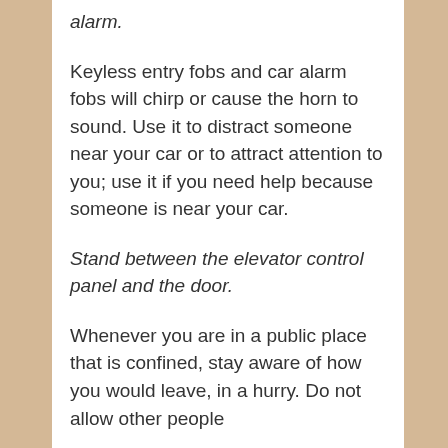alarm.
Keyless entry fobs and car alarm fobs will chirp or cause the horn to sound. Use it to distract someone near your car or to attract attention to you; use it if you need help because someone is near your car.
Stand between the elevator control panel and the door.
Whenever you are in a public place that is confined, stay aware of how you would leave, in a hurry. Do not allow other people